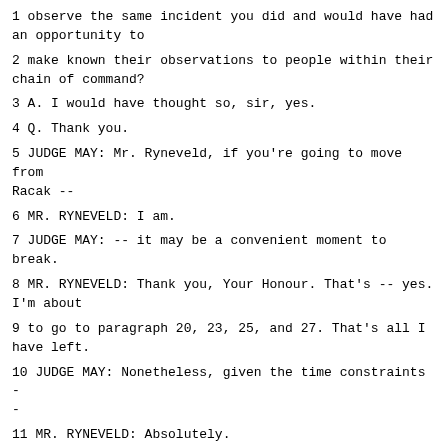1 observe the same incident you did and would have had an opportunity to
2 make known their observations to people within their chain of command?
3 A. I would have thought so, sir, yes.
4 Q. Thank you.
5 JUDGE MAY: Mr. Ryneveld, if you're going to move from Racak --
6 MR. RYNEVELD: I am.
7 JUDGE MAY: -- it may be a convenient moment to break.
8 MR. RYNEVELD: Thank you, Your Honour. That's -- yes. I'm about
9 to go to paragraph 20, 23, 25, and 27. That's all I have left.
10 JUDGE MAY: Nonetheless, given the time constraints --
11 MR. RYNEVELD: Absolutely.
12 JUDGE MAY: -- it may not be possible to finish the colonel's
13 evidence today.